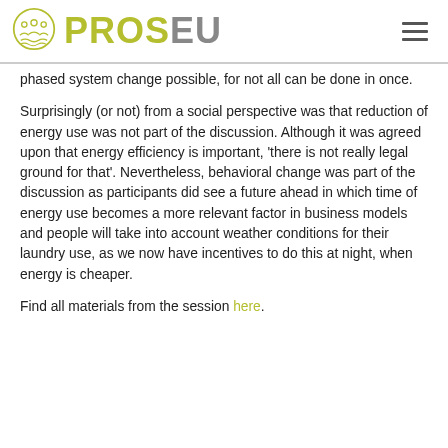PROSEU
phased system change possible, for not all can be done in once.
Surprisingly (or not) from a social perspective was that reduction of energy use was not part of the discussion. Although it was agreed upon that energy efficiency is important, ‘there is not really legal ground for that’. Nevertheless, behavioral change was part of the discussion as participants did see a future ahead in which time of energy use becomes a more relevant factor in business models and people will take into account weather conditions for their laundry use, as we now have incentives to do this at night, when energy is cheaper.
Find all materials from the session here.